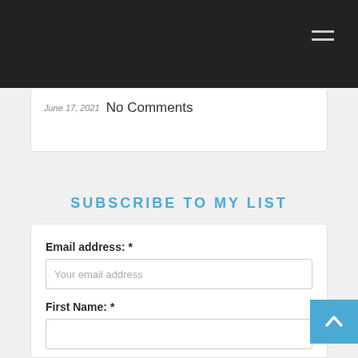June 17, 2021  No Comments
SUBSCRIBE TO MY LIST
Email address: *
Your email address
First Name: *
Last Name: *